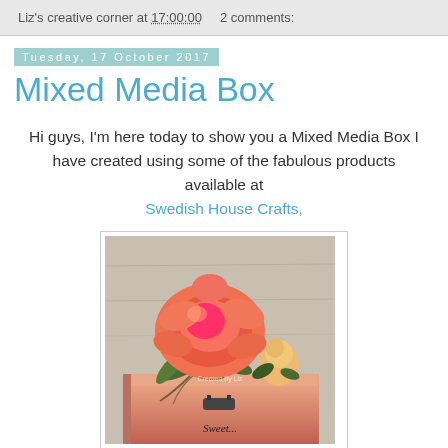Liz's creative corner at 17:00:00   2 comments:
Tuesday, 17 October 2017
Mixed Media Box
Hi guys, I'm here today to show you a Mixed Media Box I have created using some of the fabulous products available at Swedish House Crafts,
[Figure (photo): A decorated mixed media box with coral/orange silk roses and green leaves on top. The box is salmon/coral pink colored with a dark metal handle on the front. Partial text visible at the bottom of the box.]